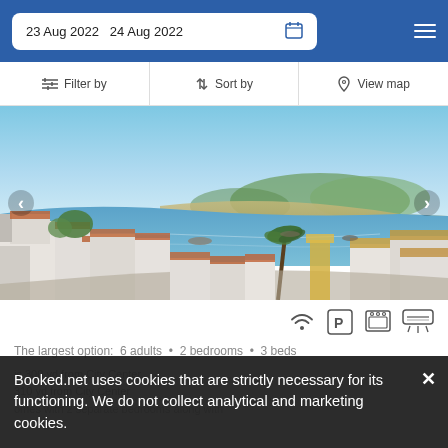23 Aug 2022   24 Aug 2022
Filter by   Sort by   View map
[Figure (photo): Aerial view of a Portuguese coastal town (Algarve) showing terracotta-roofed white buildings, a river estuary, boats, sandy shores, and green hills under a clear blue sky.]
The largest option:  6 adults  •  2 bedrooms  •  3 beds
is 300 yd from City Center
310 yd from City Center
Booked.net uses cookies that are strictly necessary for its functioning. We do not collect analytical and marketing cookies.
omes with 2 separate bedrooms along with